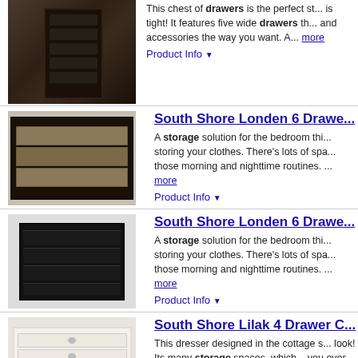[Figure (photo): Chest of drawers product image (dark, tall dresser)]
This chest of drawers is the perfect st... is tight! It features five wide drawers th... and accessories the way you want. A... more
Product Info ▼
South Shore Londen 6 Drawe...
[Figure (photo): South Shore Londen 6 Drawer dresser product image (black with wood tone drawers)]
A storage solution for the bedroom thi... storing your clothes. There's lots of spa... those morning and nighttime routines. ... more
Product Info ▼
South Shore Londen 6 Drawe...
[Figure (photo): South Shore Londen 6 Drawer dresser product image (black dresser in room setting)]
A storage solution for the bedroom thi... storing your clothes. There's lots of spa... those morning and nighttime routines. ... more
Product Info ▼
South Shore Lilak 4 Drawer C...
[Figure (photo): South Shore Lilak 4 Drawer dresser product image (white cottage style dresser)]
This dresser designed in the cottage s... look! Its many storage spaces, which... you over.... and don't forget the flat pa... more
Product Info ▼
South Shore Versa 5 Drawer...